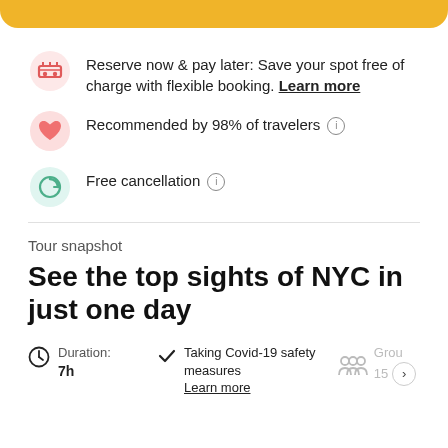[Figure (other): Yellow/gold banner at top of page]
Reserve now & pay later: Save your spot free of charge with flexible booking. Learn more
Recommended by 98% of travelers
Free cancellation
Tour snapshot
See the top sights of NYC in just one day
Duration: 7h
Taking Covid-19 safety measures Learn more
Group 15